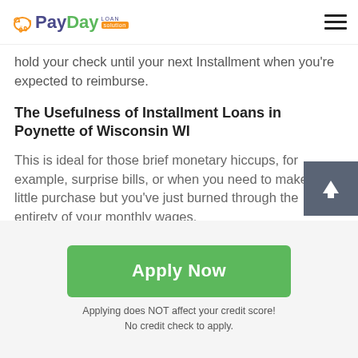PayDay Loan Solution
hold your check until your next Installment when you're expected to reimburse.
The Usefulness of Installment Loans in Poynette of Wisconsin WI
This is ideal for those brief monetary hiccups, for example, surprise bills, or when you need to make a little purchase but you've just burned through the entirety of your monthly wages.
Installment Loan Qualifications in Poynette
[Figure (other): Green Apply Now button with text 'Applying does NOT affect your credit score! No credit check to apply.']